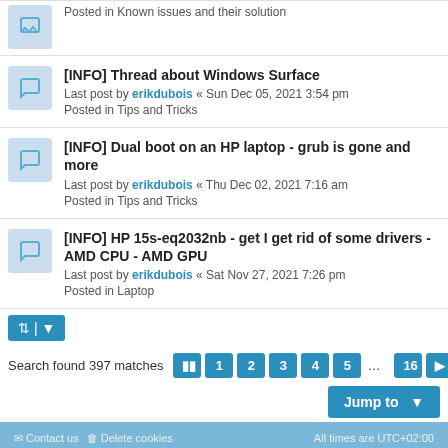Posted in Known issues and their solution
[INFO] Thread about Windows Surface
Last post by erikdubois « Sun Dec 05, 2021 3:54 pm
Posted in Tips and Tricks
[INFO] Dual boot on an HP laptop - grub is gone and more
Last post by erikdubois « Thu Dec 02, 2021 7:16 am
Posted in Tips and Tricks
[INFO] HP 15s-eq2032nb - get I get rid of some drivers - AMD CPU - AMD GPU
Last post by erikdubois « Sat Nov 27, 2021 7:26 pm
Posted in Laptop
Search found 397 matches
Contact us | Delete cookies | All times are UTC+02:00
Powered by phpBB® Forum Software © phpBB Limited
Style proflat by © Mazeltof 2017
Privacy | Terms
This website uses cookies to delete cookies on the best experience on our website. Learn more
Got it!